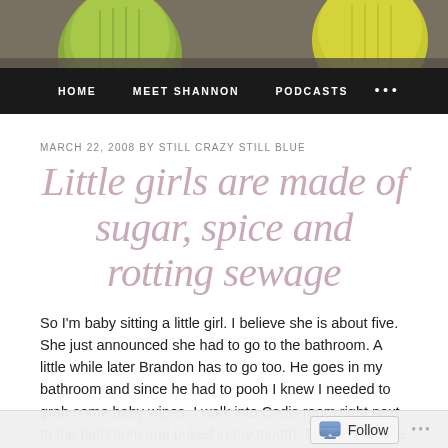[Figure (photo): Header photo showing green barrel cacti on a dark gravel background]
HOME   MEET SHANNON   PODCASTS   •••
MARCH 22, 2008 BY STILL CRAZY STILL BLUE
Little girls are made of sugar, spice and rotting sewage
So I'm baby sitting a little girl. I believe she is about five. She just announced she had to go to the bathroom. A little while later Brandon has to go too. He goes in my bathroom and since he had to pooh I knew I needed to grab some baby wipes. I walk into Codis room right next to the bathroom and puked in my mouth. Thats right. The little girl had pooped so bad I threw up